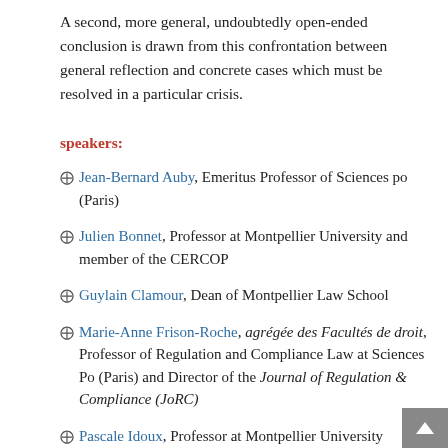A second, more general, undoubtedly open-ended conclusion is drawn from this confrontation between general reflection and concrete cases which must be resolved in a particular crisis.
speakers:
Jean-Bernard Auby, Emeritus Professor of Sciences po (Paris)
Julien Bonnet, Professor at Montpellier University and member of the CERCOP
Guylain Clamour, Dean of Montpellier Law School
Marie-Anne Frison-Roche, agrégée des Facultés de droit, Professor of Regulation and Compliance Law at Sciences Po (Paris) and Director of the Journal of Regulation & Compliance (JoRC)
Pascale Idoux, Professor at Montpellier University